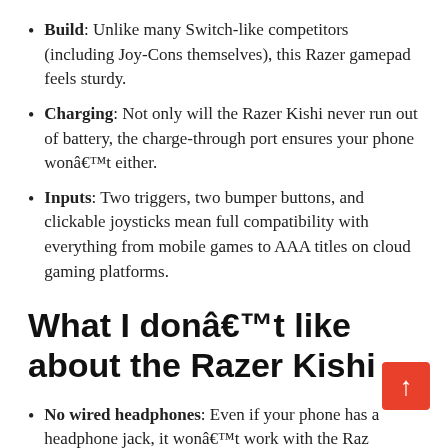Build: Unlike many Switch-like competitors (including Joy-Cons themselves), this Razer gamepad feels sturdy.
Charging: Not only will the Razer Kishi never run out of battery, the charge-through port ensures your phone wonâ€™t either.
Inputs: Two triggers, two bumper buttons, and clickable joysticks mean full compatibility with everything from mobile games to AAA titles on cloud gaming platforms.
What I donâ€™t like about the Razer Kishi
No wired headphones: Even if your phone has a headphone jack, it wonâ€™t work with the Razer Kishi. The controller obscures the entire top and